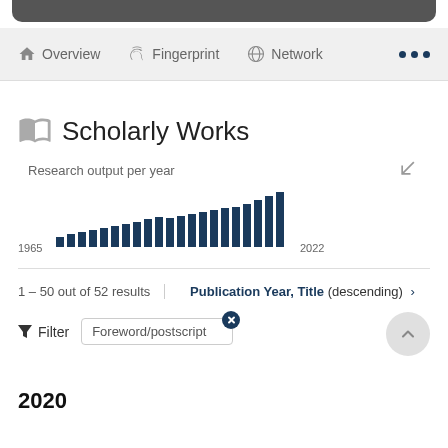Overview  Fingerprint  Network  ...
Scholarly Works
Research output per year
[Figure (bar-chart): Research output per year]
1 – 50 out of 52 results   Publication Year, Title (descending) ›
Filter   Foreword/postscript
2020